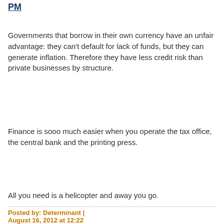PM
Governments that borrow in their own currency have an unfair advantage: they can't default for lack of funds, but they can generate inflation. Therefore they have less credit risk than private businesses by structure.
Finance is sooo much easier when you operate the tax office, the central bank and the printing press.
All you need is a helicopter and away you go.
Posted by: Determinant | August 16, 2012 at 12:22